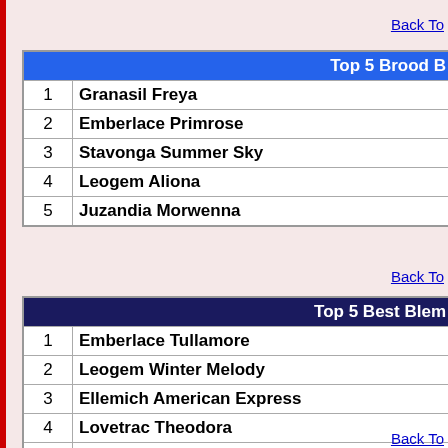Back To
| Top 5 Brood B |
| --- |
| 1 | Granasil Freya |
| 2 | Emberlace Primrose |
| 3 | Stavonga Summer Sky |
| 4 | Leogem Aliona |
| 5 | Juzandia Morwenna |
Back To
| Top 5 Best Blem |
| --- |
| 1 | Emberlace Tullamore |
| 2 | Leogem Winter Melody |
| 3 | Ellemich American Express |
| 4 | Lovetrac Theodora |
| 5 | Juzandia Sennan at Lovetrac |
Back To